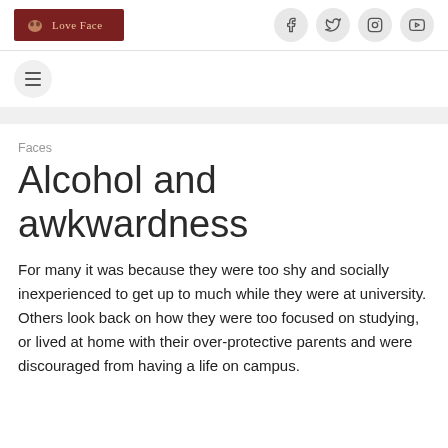Love Face | Facebook | Twitter | Instagram | YouTube
Faces
Alcohol and awkwardness
For many it was because they were too shy and socially inexperienced to get up to much while they were at university. Others look back on how they were too focused on studying, or lived at home with their over-protective parents and were discouraged from having a life on campus.